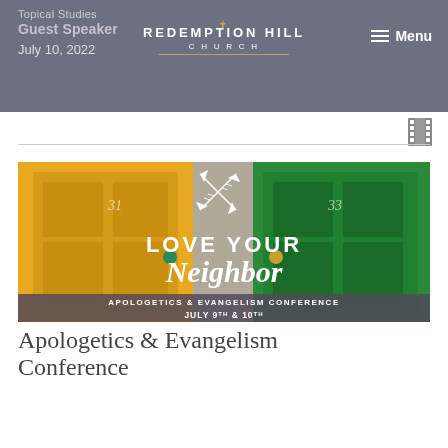Topical Studies | Guest Speaker | July 10, 2022
[Figure (logo): Redemption Hill Church logo — text logo with church name and decorative line]
[Figure (other): Film strip / video icon]
[Figure (photo): Love Your Neighbor – Apologetics & Evangelism Conference, July 9th & 10th. Conference banner image showing colorful front doors (yellow and green) with decorative crossed arrows and event text overlay.]
Apologetics & Evangelism Conference